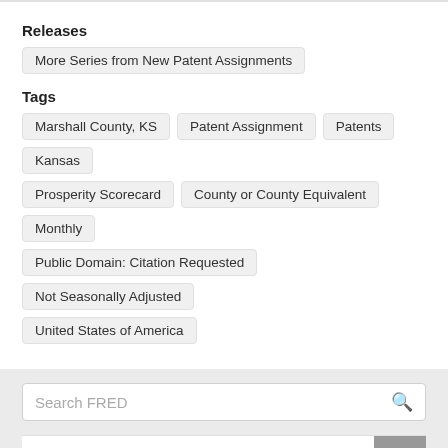Releases
More Series from New Patent Assignments
Tags
Marshall County, KS
Patent Assignment
Patents
Kansas
Prosperity Scorecard
County or County Equivalent
Monthly
Public Domain: Citation Requested
Not Seasonally Adjusted
United States of America
Search FRED
SERVICES
FRED®
ALFRED®
FRASER®
IDEAS